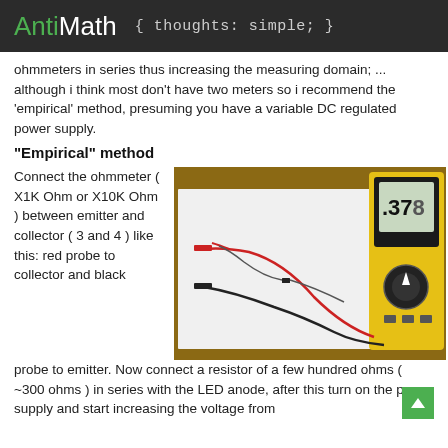AntiMath { thoughts: simple; }
ohmmeters in series thus increasing the measuring domain; ... although i think most don't have two meters so i recommend the 'empirical' method, presuming you have a variable DC regulated power supply.
“Empirical” method
Connect the ohmmeter ( X1K Ohm or X10K Ohm ) between emitter and collector ( 3 and 4 ) like this: red probe to collector and black probe to emitter. Now connect a resistor of a few hundred ohms ( ~300 ohms ) in series with the LED anode, after this turn on the power supply and start increasing the voltage from
[Figure (photo): Photo of a circuit setup on white paper with wires and a component, alongside a yellow and black digital multimeter displaying '.378']